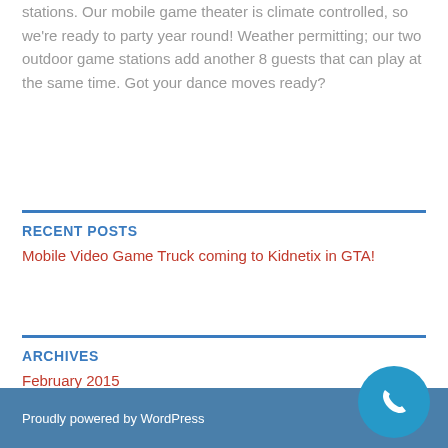stations. Our mobile game theater is climate controlled, so we're ready to party year round! Weather permitting; our two outdoor game stations add another 8 guests that can play at the same time. Got your dance moves ready?
RECENT POSTS
Mobile Video Game Truck coming to Kidnetix in GTA!
ARCHIVES
February 2015
Proudly powered by WordPress